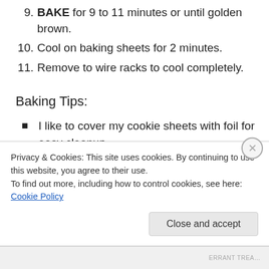9. BAKE for 9 to 11 minutes or until golden brown.
10. Cool on baking sheets for 2 minutes.
11. Remove to wire racks to cool completely.
Baking Tips:
I like to cover my cookie sheets with foil for easy cleanup.
Halfway through the baking time rotate the cookie
Privacy & Cookies: This site uses cookies. By continuing to use this website, you agree to their use.
To find out more, including how to control cookies, see here: Cookie Policy
Close and accept